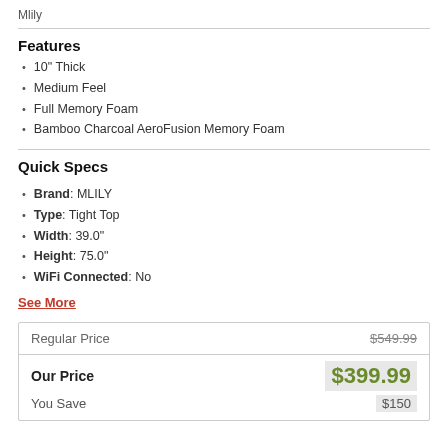Mlily
Features
10" Thick
Medium Feel
Full Memory Foam
Bamboo Charcoal AeroFusion Memory Foam
Quick Specs
Brand: MLILY
Type: Tight Top
Width: 39.0"
Height: 75.0"
WiFi Connected: No
See More
|  |  |
| --- | --- |
| Regular Price | $549.99 |
| Our Price | $399.99 |
| You Save | $150 |